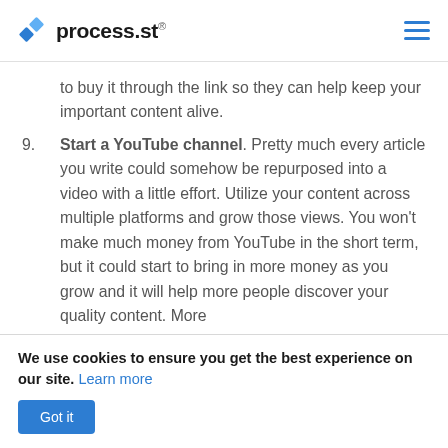process.st®
to buy it through the link so they can help keep your important content alive.
9. Start a YouTube channel. Pretty much every article you write could somehow be repurposed into a video with a little effort. Utilize your content across multiple platforms and grow those views. You won't make much money from YouTube in the short term, but it could start to bring in more money as you grow and it will help more people discover your quality content. More
We use cookies to ensure you get the best experience on our site. Learn more
Got it